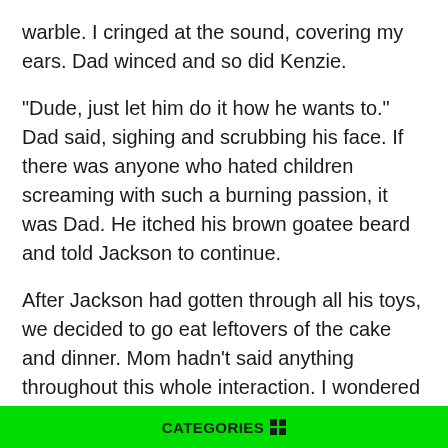warble. I cringed at the sound, covering my ears. Dad winced and so did Kenzie.
"Dude, just let him do it how he wants to." Dad said, sighing and scrubbing his face. If there was anyone who hated children screaming with such a burning passion, it was Dad. He itched his brown goatee beard and told Jackson to continue.
After Jackson had gotten through all his toys, we decided to go eat leftovers of the cake and dinner. Mom hadn't said anything throughout this whole interaction. I wondered why and started to get up.
All of a sudden, a low guttural scream came from Mom's mouth and she fell to the ground. Her body spasmed with sickening movements and froth came from her mouth. Jackson started shrieking and Dad ushered us away from Mom. Jackson was screaming in my arms and Josh was choking back tears. Kenzie stood in a stunned silence, her
CATEGORIES